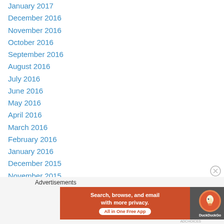January 2017
December 2016
November 2016
October 2016
September 2016
August 2016
July 2016
June 2016
May 2016
April 2016
March 2016
February 2016
January 2016
December 2015
November 2015
October 2015
September 2015
Advertisements
[Figure (other): DuckDuckGo advertisement banner: Search, browse, and email with more privacy. All in One Free App — with DuckDuckGo logo on dark background.]